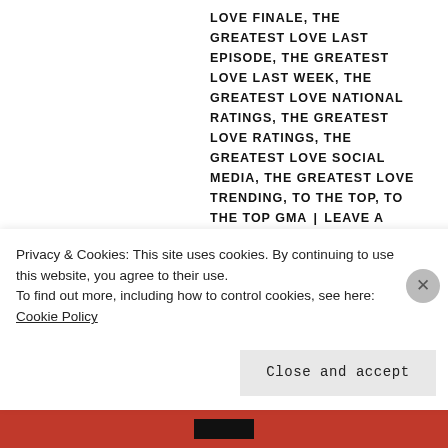LOVE FINALE, THE GREATEST LOVE LAST EPISODE, THE GREATEST LOVE LAST WEEK, THE GREATEST LOVE NATIONAL RATINGS, THE GREATEST LOVE RATINGS, THE GREATEST LOVE SOCIAL MEDIA, THE GREATEST LOVE TRENDING, TO THE TOP, TO THE TOP GMA | LEAVE A COMMENT
For one week only, it will be ‘The Greatest Love’ versus ‘D’Originals’.
This week will mark the last for ‘The Greatest Love’, the top-rating
Privacy & Cookies: This site uses cookies. By continuing to use this website, you agree to their use.
To find out more, including how to control cookies, see here: Cookie Policy